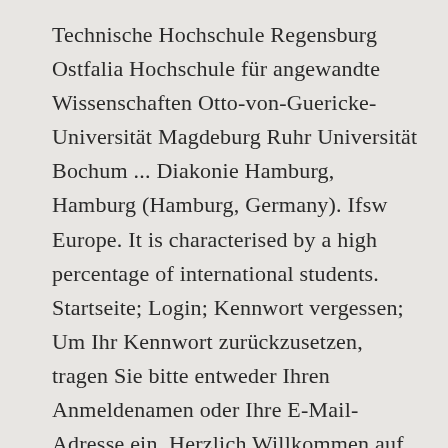Technische Hochschule Regensburg Ostfalia Hochschule für angewandte Wissenschaften Otto-von-Guericke-Universität Magdeburg Ruhr Universität Bochum ... Diakonie Hamburg, Hamburg (Hamburg, Germany). Ifsw Europe. It is characterised by a high percentage of international students. Startseite; Login; Kennwort vergessen; Um Ihr Kennwort zurückzusetzen, tragen Sie bitte entweder Ihren Anmeldenamen oder Ihre E-Mail-Adresse ein. Herzlich Willkommen auf der virtuellen Lernplattform der Augustana Hochschule Neuendettelsau und der Evangelischen Hochschule Nürnberg. Evangelische Fachhochschule Rheinland-Westfalen-Lippe Wissenschaftsrat. Skip navigation. Junger DBSH